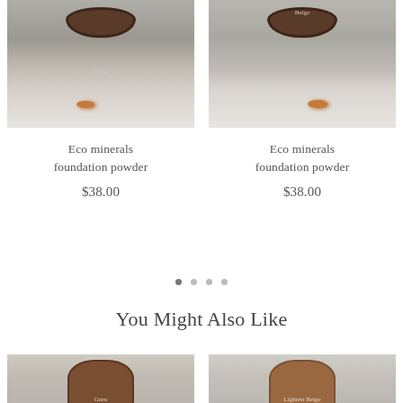[Figure (photo): Eco minerals foundation powder in Olive shade, round brown jar on granite surface with powder spill]
[Figure (photo): Eco minerals foundation powder in Beige shade, round brown jar on granite surface with powder spill]
Eco minerals foundation powder
$38.00
Eco minerals foundation powder
$38.00
You Might Also Like
[Figure (photo): Eco minerals foundation powder in Guru shade, round brown jar partially visible]
[Figure (photo): Eco minerals foundation powder in Lightest Beige shade, round brown jar partially visible]